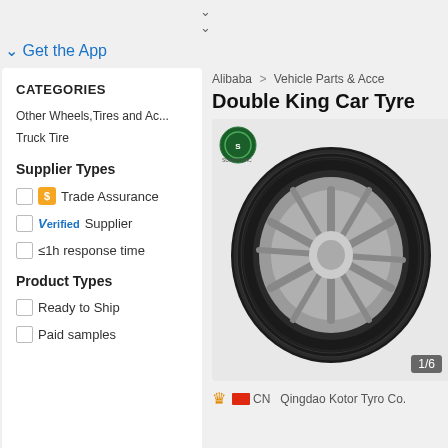Get the App
CATEGORIES
Other Wheels,Tires and Ac...
Truck Tire
Supplier Types
Trade Assurance
Verified Supplier
≤1h response time
Product Types
Ready to Ship
Paid samples
Alibaba > Vehicle Parts & Acce
Double King Car Tyre
[Figure (photo): Car tyre product image showing a black rubber tire on a chrome alloy wheel, with a green circular brand logo (SUNMITRAC) in the top left corner. Image counter badge shows 1/6.]
CN   Qingdao Kotor Tyro Co.